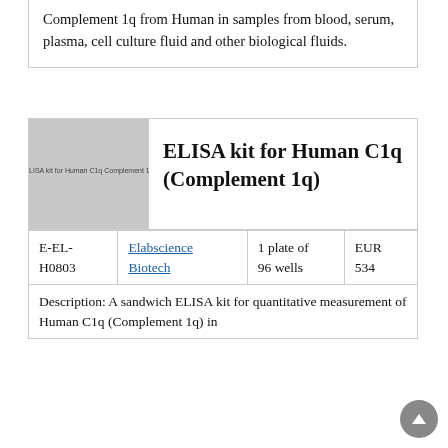Complement 1q from Human in samples from blood, serum, plasma, cell culture fluid and other biological fluids.
[Figure (photo): Product image placeholder for ELISA kit for Human C1q (Complement 1q)]
ELISA kit for Human C1q (Complement 1q)
|  |  |  |  |
| --- | --- | --- | --- |
| E-EL-H0803 | Elabscience Biotech | 1 plate of 96 wells | EUR 534 |
Description: A sandwich ELISA kit for quantitative measurement of Human C1q (Complement 1q) in